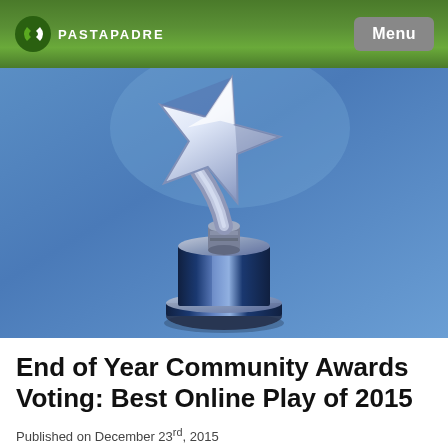PASTAPADRE | Menu
[Figure (photo): A silver and blue star-shaped trophy award sitting on a cylindrical pedestal base, set against a blue background. The star is metallic silver/chrome and tilted at an angle on a curved arm.]
End of Year Community Awards Voting: Best Online Play of 2015
Published on December 23rd, 2015
Written by: pastapadre